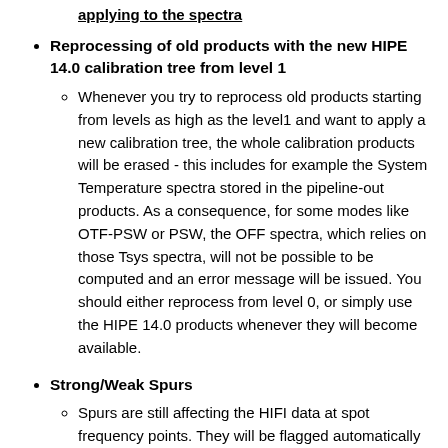applying to the spectra (partial, top of page)
Reprocessing of old products with the new HIPE 14.0 calibration tree from level 1
Whenever you try to reprocess old products starting from levels as high as the level1 and want to apply a new calibration tree, the whole calibration products will be erased - this includes for example the System Temperature spectra stored in the pipeline-out products. As a consequence, for some modes like OTF-PSW or PSW, the OFF spectra, which relies on those Tsys spectra, will not be possible to be computed and an error message will be issued. You should either reprocess from level 0, or simply use the HIPE 14.0 products whenever they will become available.
Strong/Weak Spurs
Spurs are still affecting the HIFI data at spot frequency points. They will be flagged automatically in the data using a SpurFinder task when present above a certain threshold in the